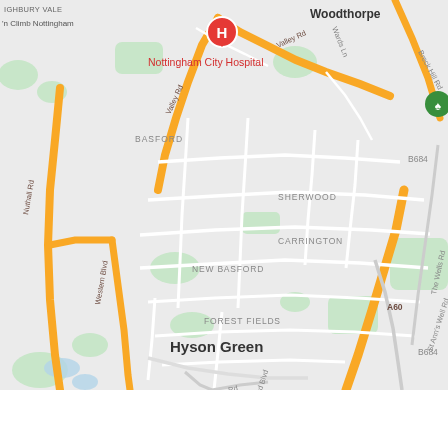[Figure (map): Google Maps screenshot showing Nottingham city area including Woodthorpe, Basford, Sherwood, Carrington, New Basford, Forest Fields, Hyson Green, Radford, Arboretum neighbourhoods, with Nottingham City Hospital marked with a red H pin, Woodthorpe Grange Park with a green tree pin, Victoria Centre with a blue shopping bag pin, and Stonebridge C with a grey pin. Major roads include Valley Rd, Nuthall Rd, Western Blvd, Alfreton Rd, Radford Blvd, Ikeston Rd, B684, B690, B686, The Wells Rd, St Ann's Well Rd, A60.]